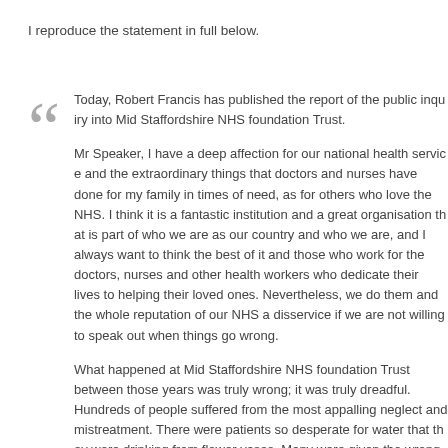I reproduce the statement in full below.
Today, Robert Francis has published the report of the public inquiry into Mid Staffordshire NHS foundation Trust.

Mr Speaker, I have a deep affection for our national health service and the extraordinary things that doctors and nurses have done for my family in times of need, as for others who love the NHS. I think it is a fantastic institution and a great organisation that is part of who we are as our country and who we are, and I always want to think the best of it and the best of those who work for the doctors, nurses and other health workers who dedicate their lives to helping their loved ones. Nevertheless, we do them and the whole reputation of our NHS a disservice if we are not willing to speak out when things go wrong.

What happened at Mid Staffordshire NHS foundation Trust between those years was truly wrong; it was truly dreadful. Hundreds of people suffered from the most appalling neglect and mistreatment. There were patients so desperate for water that they were drinking from flower vases. Many were given the wrong medication, treated roughly, left to wet themselves and then lie in urine for days, and relatives were ignored or even actively prevented from carrying out even the most basic things that could have saved their loved ones or provided comfort before death. We can only begin to imagine the suffering endured by those patients who trusted that the system was betrayed at their most vulnerable moment. That is why I am making this statement today.